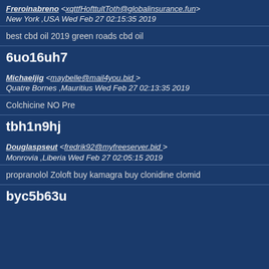Freroinabreno <xqttfHofttultToth@globalinsurance.fun> New York ,USA Wed Feb 27 02:15:35 2019
best cbd oil 2019 green roads cbd oil
6uo16uh7
Michaeljig <maybelle@mail4you.bid > Quatre Bornes ,Mauritius Wed Feb 27 02:13:35 2019
Colchicine NO Pre
tbh1n9hj
Douglaspseut <fredrik92@myfreeserver.bid > Monrovia ,Liberia Wed Feb 27 02:05:15 2019
propranolol Zoloft buy kamagra buy clonidine clomid
byc5b63u